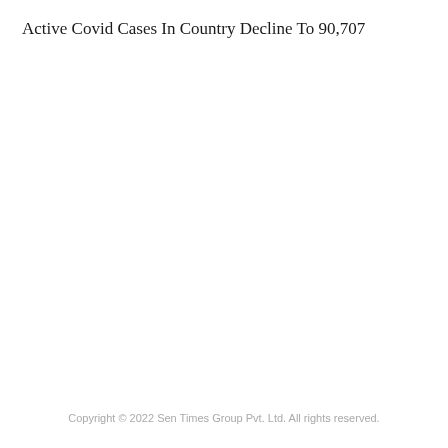Active Covid Cases In Country Decline To 90,707
Copyright © 2022 Sen Times Group Pvt. Ltd. All rights reserved.